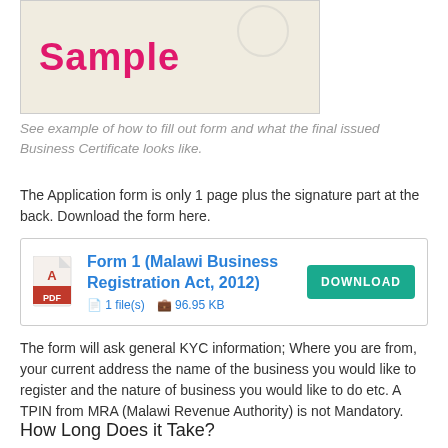[Figure (illustration): Sample image box with handwritten pink 'Sample' text and a faint circular stamp]
See example of how to fill out form and what the final issued Business Certificate looks like.
The Application form is only 1 page plus the signature part at the back. Download the form here.
[Figure (other): Download box: Form 1 (Malawi Business Registration Act, 2012), 1 file(s), 96.95 KB, DOWNLOAD button]
The form will ask general KYC information; Where you are from, your current address the name of the business you would like to register and the nature of business you would like to do etc. A TPIN from MRA (Malawi Revenue Authority) is not Mandatory.
How Long Does it Take?